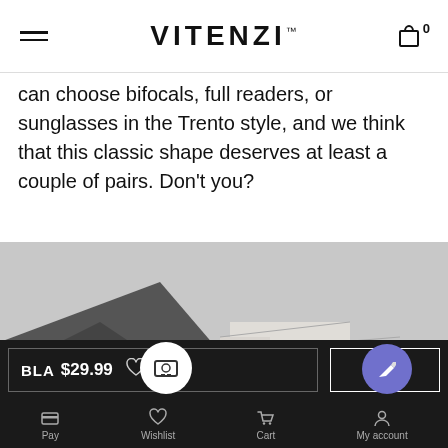VITENZI™
can choose bifocals, full readers, or sunglasses in the Trento style, and we think that this classic shape deserves at least a couple of pairs. Don't you?
[Figure (photo): Black and white photo of a Mediterranean-style white building with flat roof against a mountainous landscape and overcast sky]
VIRTUAL MIRROR
BLA... $29.99
AD... CA...